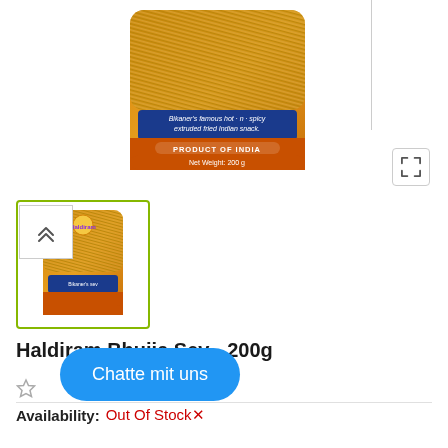[Figure (photo): Product photo of Haldiram Bhujia Sev 200g bag - orange packaging with sev snacks visible, blue label reading 'Bikaner's famous hot-n-spicy extruded fried Indian snack', orange band with PRODUCT OF INDIA and Net Weight: 200g]
[Figure (photo): Thumbnail image of Haldiram Bhujia Sev 200g orange packaging bag, shown in selected state with green border]
Haldiram Bhujia Sev - 200g
Availability:  Out Of Stock✕
Chatte mit uns